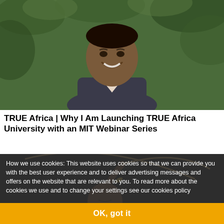[Figure (photo): Portrait photo of a smiling young man in a blazer against a leafy green background]
TRUE Africa | Why I Am Launching TRUE Africa University with an MIT Webinar Series
[Figure (photo): Photo of a woman with a hoop/ribbon against a dark background, partially obscured by cookie overlay]
How we use cookies: This website uses cookies so that we can provide you with the best user experience and to deliver advertising messages and offers on the website that are relevant to you. To read more about the cookies we use and to change your settings see our cookies policy
TRUE Africa | The Kenyan Musician Playing an
OK, got it